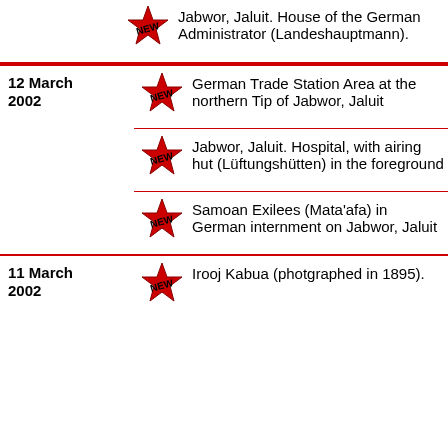Jabwor, Jaluit. House of the German Administrator (Landeshauptmann).
12 March 2002
German Trade Station Area at the northern Tip of Jabwor, Jaluit
Jabwor, Jaluit. Hospital, with airing hut (Lüftungshütten) in the foreground
Samoan Exilees (Mata'afa) in German internment on Jabwor, Jaluit
11 March 2002
Irooj Kabua (photgraphed in 1895).